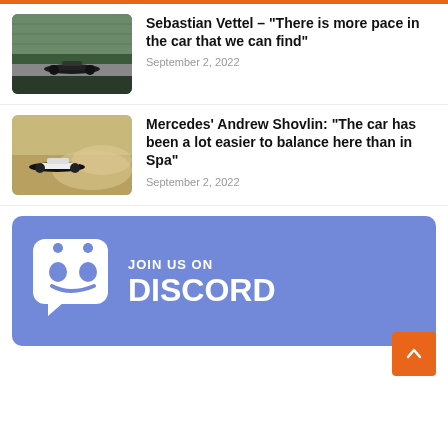[Figure (photo): Formula 1 car on track (Sebastian Vettel article thumbnail)]
Sebastian Vettel – "There is more pace in the car that we can find"
September 2, 2022
[Figure (photo): Formula 1 car kicking up dust (Mercedes Andrew Shovlin article thumbnail)]
Mercedes' Andrew Shovlin: "The car has been a lot easier to balance here than in Spa"
September 2, 2022
[Figure (infographic): Join us on Discord promotional banner with Discord logo]